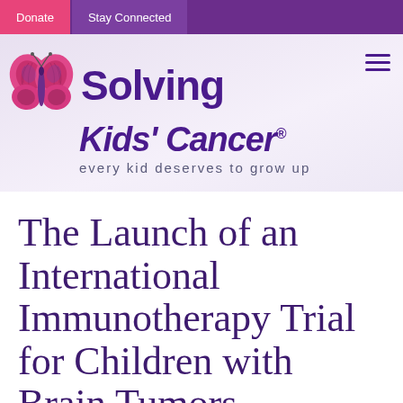Donate | Stay Connected
[Figure (logo): Solving Kids' Cancer logo with pink butterfly and purple text. Tagline: every kid deserves to grow up]
The Launch of an International Immunotherapy Trial for Children with Brain Tumors